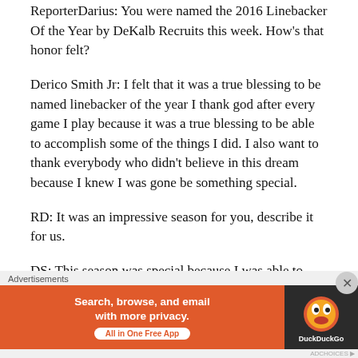ReporterDarius: You were named the 2016 Linebacker Of the Year by DeKalb Recruits this week. How's that honor felt?
Derico Smith Jr: I felt that it was a true blessing to be named linebacker of the year I thank god after every game I play because it was a true blessing to be able to accomplish some of the things I did. I also want to thank everybody who didn't believe in this dream because I knew I was gone be something special.
RD: It was an impressive season for you, describe it for us.
DS: This season was special because I was able to step up
[Figure (other): DuckDuckGo advertisement banner: 'Search, browse, and email with more privacy. All in One Free App' with DuckDuckGo logo on dark background, on orange background.]